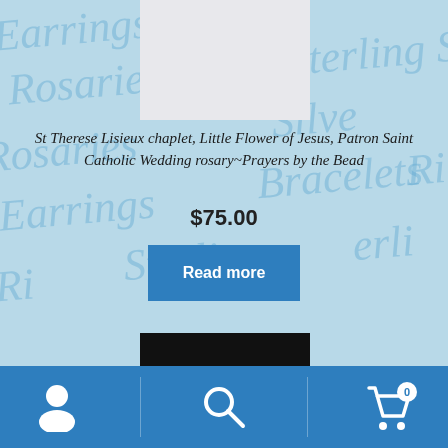[Figure (photo): Product image with light/white background, top portion of product photo]
St Therese Lisieux chaplet, Little Flower of Jesus, Patron Saint Catholic Wedding rosary~Prayers by the Bead
$75.00
Read more
[Figure (photo): Product image with dark/black background showing jewelry items]
Navigation bar with user icon, search icon, and cart icon (0 items)